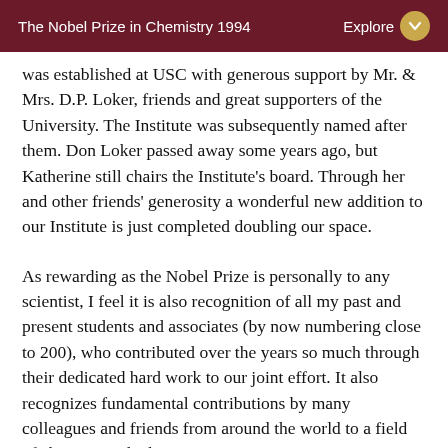The Nobel Prize in Chemistry 1994   Explore
was established at USC with generous support by Mr. & Mrs. D.P. Loker, friends and great supporters of the University. The Institute was subsequently named after them. Don Loker passed away some years ago, but Katherine still chairs the Institute's board. Through her and other friends' generosity a wonderful new addition to our Institute is just completed doubling our space.
As rewarding as the Nobel Prize is personally to any scientist, I feel it is also recognition of all my past and present students and associates (by now numbering close to 200), who contributed over the years so much through their dedicated hard work to our joint effort. It also recognizes fundamental contributions by many colleagues and friends from around the world to a field of chemistry which is